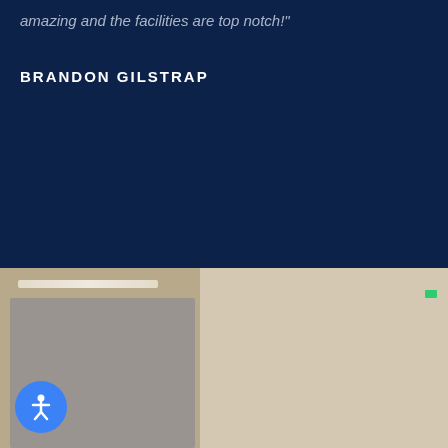amazing and the facilities are top notch!"
BRANDON GILSTRAP
[Figure (photo): A woman with long brown hair in a medical or office facility setting. A gray partition panel is visible on the left, with a ceiling light strip. A green exit sign is visible in the background. An accessibility icon button (blue circle with white person figure) is in the lower left corner.]